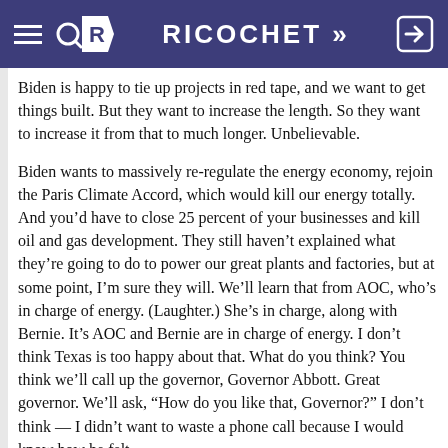RICOCHET
Biden is happy to tie up projects in red tape, and we want to get things built. But they want to increase the length. So they want to increase it from that to much longer. Unbelievable.
Biden wants to massively re-regulate the energy economy, rejoin the Paris Climate Accord, which would kill our energy totally. And you’d have to close 25 percent of your businesses and kill oil and gas development. They still haven’t explained what they’re going to do to power our great plants and factories, but at some point, I’m sure they will. We’ll learn that from AOC, who’s in charge of energy. (Laughter.) She’s in charge, along with Bernie. It’s AOC and Bernie are in charge of energy. I don’t think Texas is too happy about that. What do you think? You think we’ll call up the governor, Governor Abbott. Great governor. We’ll ask, “How do you like that, Governor?” I don’t think — I didn’t want to waste a phone call because I would know how he felt.
And Biden wants to hold hostage billions in federal Surface Transportation Grants for states and